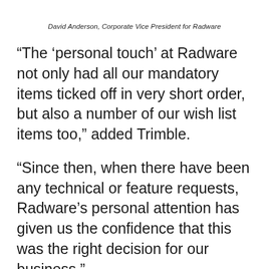David Anderson, Corporate Vice President for Radware
“The ‘personal touch’ at Radware not only had all our mandatory items ticked off in very short order, but also a number of our wish list items too,” added Trimble.
“Since then, when there have been any technical or feature requests, Radware’s personal attention has given us the confidence that this was the right decision for our business.”
“Continent 8 fields an experienced team that has tangled with some of the world’s most